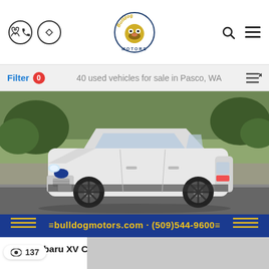Bulldog Motors header with phone icon, map icon, logo, search icon, menu icon
Filter 0   40 used vehicles for sale in Pasco, WA
[Figure (photo): White 2014 Subaru XV Crosstrek Limited parked on a road with trees in background. Blue banner below with text: bulldogmotors.com · (509)544-9600]
2014 Subaru XV Crosstrek Limited   $22,588
Stock #: 22-120 | Miles: 48,491 | Interior: Other | Est. payment: $272/mo
[Figure (photo): Partially visible next vehicle listing card (gray/cropped)]
137 views